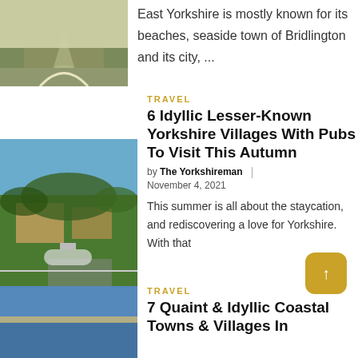[Figure (photo): Aerial or road view of a country path with grass verge, partially visible at top left]
East Yorkshire is mostly known for its beaches, seaside town of Bridlington and its city, ...
TRAVEL
6 Idyllic Lesser-Known Yorkshire Villages With Pubs To Visit This Autumn
by The Yorkshireman | November 4, 2021
[Figure (photo): Village scene with roundabout, road, trees and a building in the background on a sunny day]
This summer is all about the staycation, and rediscovering a love for Yorkshire. With that
TRAVEL
7 Quaint & Idyllic Coastal Towns & Villages In
[Figure (photo): Coastal or landscape photo partially visible at bottom left]